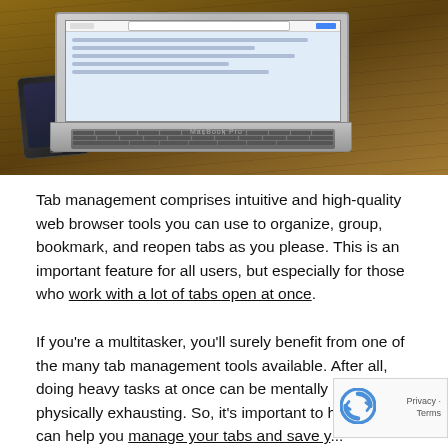[Figure (photo): A MacBook Pro laptop open on a wooden table with a smartphone lying beside it. The laptop screen shows a web browser. Shot from a slightly elevated angle.]
Tab management comprises intuitive and high-quality web browser tools you can use to organize, group, bookmark, and reopen tabs as you please. This is an important feature for all users, but especially for those who work with a lot of tabs open at once.
If you're a multitasker, you'll surely benefit from one of the many tab management tools available. After all, doing heavy tasks at once can be mentally and physically exhausting. So, it's important to have that can help you manage your tabs and save y...